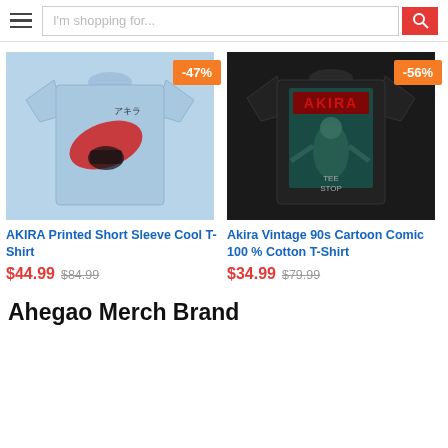I'm shopping for...
[Figure (photo): Light blue AKIRA Printed Short Sleeve Cool T-Shirt with red/black graphic, showing -47% discount badge]
AKIRA Printed Short Sleeve Cool T-Shirt
$44.99 $84.99
[Figure (photo): Black Akira Vintage 90s Cartoon Comic 100% Cotton T-Shirt with teal/red graphic, showing -56% discount badge]
Akira Vintage 90s Cartoon Comic 100 % Cotton T-Shirt
$34.99 $79.99
Ahegao Merch Brand